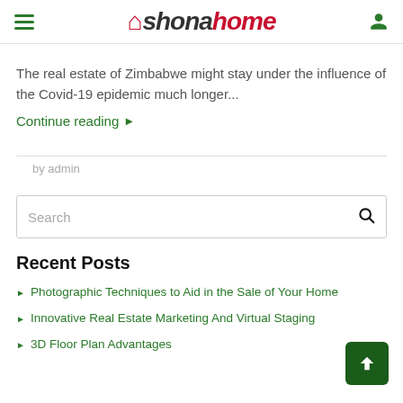shonahome
The real estate of Zimbabwe might stay under the influence of the Covid-19 epidemic much longer...
Continue reading ▶
by admin
Search
Recent Posts
Photographic Techniques to Aid in the Sale of Your Home
Innovative Real Estate Marketing And Virtual Staging
3D Floor Plan Advantages